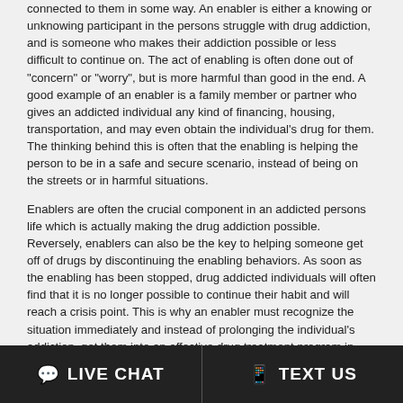connected to them in some way. An enabler is either a knowing or unknowing participant in the persons struggle with drug addiction, and is someone who makes their addiction possible or less difficult to continue on. The act of enabling is often done out of "concern" or "worry", but is more harmful than good in the end. A good example of an enabler is a family member or partner who gives an addicted individual any kind of financing, housing, transportation, and may even obtain the individual's drug for them. The thinking behind this is often that the enabling is helping the person to be in a safe and secure scenario, instead of being on the streets or in harmful situations.
Enablers are often the crucial component in an addicted persons life which is actually making the drug addiction possible. Reversely, enablers can also be the key to helping someone get off of drugs by discontinuing the enabling behaviors. As soon as the enabling has been stopped, drug addicted individuals will often find that it is no longer possible to continue their habit and will reach a crisis point. This is why an enabler must recognize the situation immediately and instead of prolonging the individual's addiction, get them into an effective drug treatment program in Sheakleyville. Only then will both the enabler and the drug addict be able to go on with their lives in a much healthier and sane manner.
Do I Need a Drug Rehab Program
Individuals in Sheakleyville can get grabbed in the routine of addiction so swiftly, that before they know it their addiction has spun out of control and they can no longer handle their behavior or choices concerning their
LIVE CHAT   TEXT US